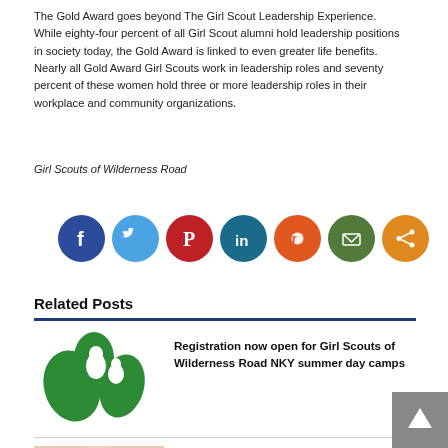The Gold Award goes beyond The Girl Scout Leadership Experience. While eighty-four percent of all Girl Scout alumni hold leadership positions in society today, the Gold Award is linked to even greater life benefits. Nearly all Gold Award Girl Scouts work in leadership roles and seventy percent of these women hold three or more leadership roles in their workplace and community organizations.
Girl Scouts of Wilderness Road
[Figure (infographic): Row of seven circular social media share icons: Facebook (dark blue), Twitter (light blue), Pinterest (red), LinkedIn (teal/dark blue), Reddit (orange), Email (dark green), Share (orange)]
Related Posts
[Figure (logo): Girl Scouts of Wilderness Road logo — green silhouette of girl scout trefoil with figure]
Registration now open for Girl Scouts of Wilderness Road NKY summer day camps
[Figure (photo): Photo of a woman with blonde hair]
Girl Scouts of Kentucky's Wilderness Road partners with Horizon Community Funds for new fund